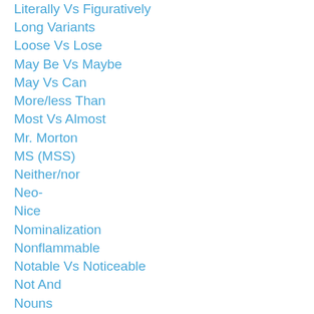Literally Vs Figuratively
Long Variants
Loose Vs Lose
May Be Vs Maybe
May Vs Can
More/less Than
Most Vs Almost
Mr. Morton
MS (MSS)
Neither/nor
Neo-
Nice
Nominalization
Nonflammable
Notable Vs Noticeable
Not And
Nouns
Number Vs.amount
Observance Vs Observation
Of Which Vs Whose
Okay / OK / O.K.